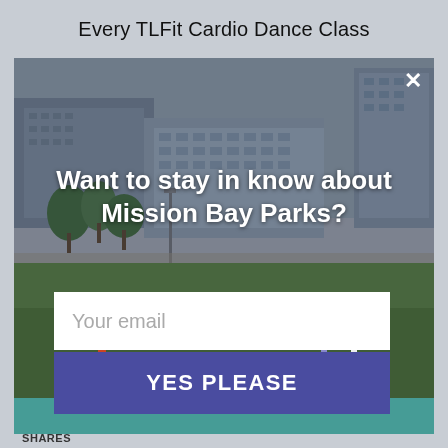Every TLFit Cardio Dance Class
[Figure (photo): Modal popup overlay on a webpage showing a park scene in Mission Bay, San Francisco. People walking dogs and children playing on a green lawn with modern office buildings in the background. The modal has a dark semi-transparent overlay with white text asking to subscribe to Mission Bay Parks updates.]
Want to stay in know about Mission Bay Parks?
Your email
YES PLEASE
SHARES